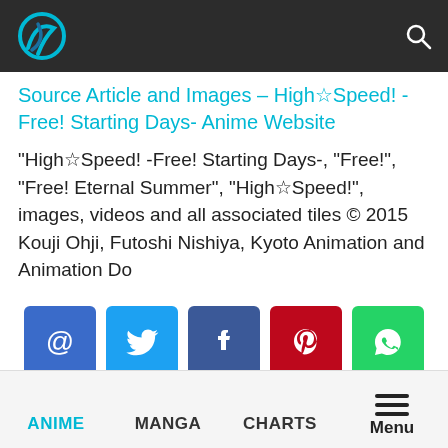Anime Website header with logo and search icon
Source Article and Images – High☆Speed! -Free! Starting Days- Anime Website
“High☆Speed! -Free! Starting Days-, “Free!”, “Free! Eternal Summer”, “High☆Speed!”, images, videos and all associated tiles © 2015 Kouji Ohji, Futoshi Nishiya, Kyoto Animation and Animation Do
[Figure (infographic): Row of 5 social share buttons: email (@), Twitter (bird), Facebook (f), Pinterest (P), WhatsApp (phone)]
ANIME   MANGA   CHARTS   Menu